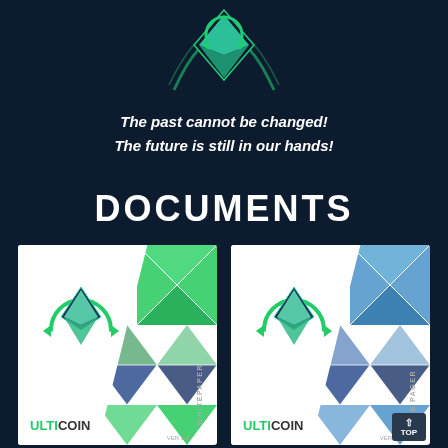[Figure (logo): Ulticoin logo — green hourglass/diamond shape with circular arrows and arc elements on dark background]
The past cannot be changed!
The future is still in our hands!
DOCUMENTS
[Figure (illustration): Two document covers side by side: left is Ulticoin Whitepaper Ver 1.0 with green geometric triangles, right is Ulticoin One Pager Ver 1.0 with blue geometric triangles. Both feature the Ulticoin logo.]